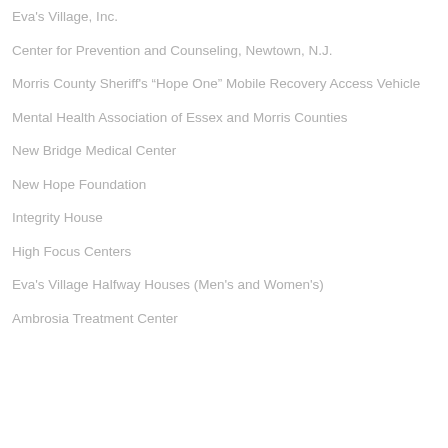Eva's Village, Inc.
Center for Prevention and Counseling, Newtown, N.J.
Morris County Sheriff's "Hope One" Mobile Recovery Access Vehicle
Mental Health Association of Essex and Morris Counties
New Bridge Medical Center
New Hope Foundation
Integrity House
High Focus Centers
Eva's Village Halfway Houses (Men's and Women's)
Ambrosia Treatment Center